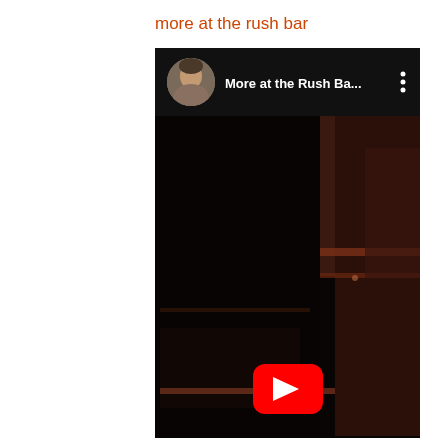more at the rush bar
[Figure (screenshot): YouTube video embed showing a dark interior bar scene at night with a video thumbnail overlay and YouTube play button. Header shows a man's avatar photo and title 'More at the Rush Ba...' with three-dot menu.]